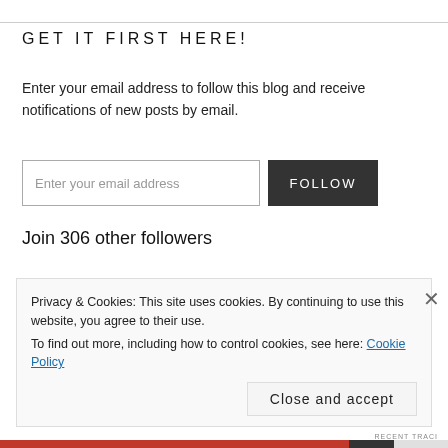GET IT FIRST HERE!
Enter your email address to follow this blog and receive notifications of new posts by email.
Enter your email address   FOLLOW
Join 306 other followers
Privacy & Cookies: This site uses cookies. By continuing to use this website, you agree to their use.
To find out more, including how to control cookies, see here: Cookie Policy
Close and accept